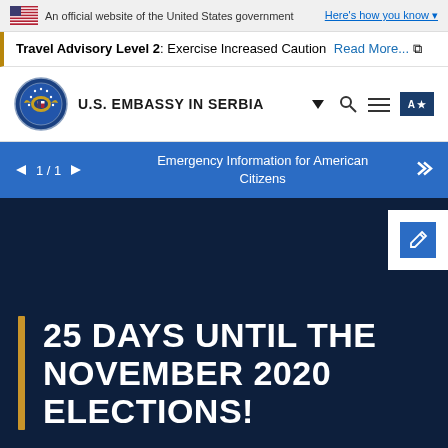An official website of the United States government | Here's how you know
Travel Advisory Level 2: Exercise Increased Caution Read More...
U.S. EMBASSY IN SERBIA
1 / 1 Emergency Information for American Citizens
25 DAYS UNTIL THE NOVEMBER 2020 ELECTIONS!